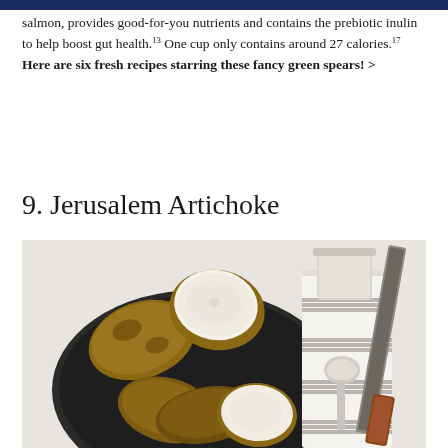salmon, provides good-for-you nutrients and contains the prebiotic inulin to help boost gut health.¹³ One cup only contains around 27 calories.¹⁷ Here are six fresh recipes starring these fancy green spears! >
9. Jerusalem Artichoke
[Figure (photo): Overhead view of Jerusalem artichokes (sunchokes) on a dark plate, with some sliced open to show the white interior, alongside a striped cloth napkin, a spoon, and a knife with a wooden handle, on a white surface.]